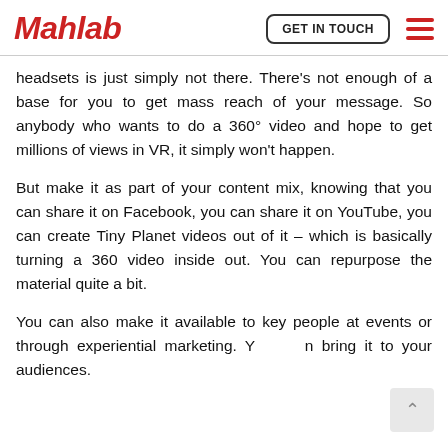Mahlab | GET IN TOUCH
headsets is just simply not there. There's not enough of a base for you to get mass reach of your message. So anybody who wants to do a 360° video and hope to get millions of views in VR, it simply won't happen.
But make it as part of your content mix, knowing that you can share it on Facebook, you can share it on YouTube, you can create Tiny Planet videos out of it – which is basically turning a 360 video inside out. You can repurpose the material quite a bit.
You can also make it available to key people at events or through experiential marketing. You can bring it to your audiences.